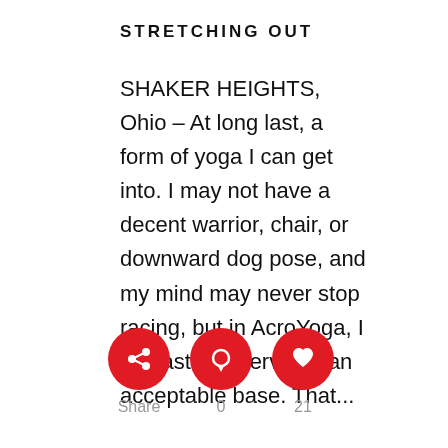STRETCHING OUT
SHAKER HEIGHTS, Ohio – At long last, a form of yoga I can get into. I may not have a decent warrior, chair, or downward dog pose, and my mind may never stop racing, but in AcroYoga, I at least can serve as an acceptable base. That...
[Figure (infographic): Three red circular social media action buttons: Share (share icon), 0 (comment/speech bubble icon), 21 (heart/like icon), with labels below each button.]